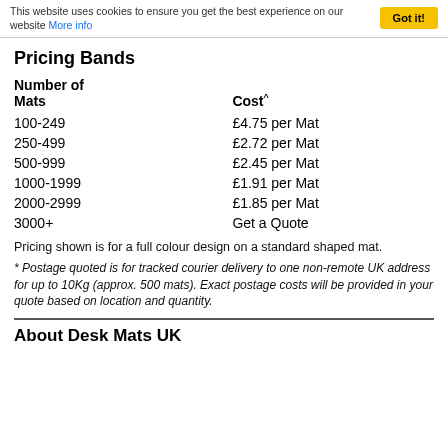This website uses cookies to ensure you get the best experience on our website More info  Got it!
Pricing Bands
| Number of Mats | Cost^ |
| --- | --- |
| 100-249 | £4.75 per Mat |
| 250-499 | £2.72 per Mat |
| 500-999 | £2.45 per Mat |
| 1000-1999 | £1.91 per Mat |
| 2000-2999 | £1.85 per Mat |
| 3000+ | Get a Quote |
Pricing shown is for a full colour design on a standard shaped mat.
* Postage quoted is for tracked courier delivery to one non-remote UK address for up to 10Kg (approx. 500 mats). Exact postage costs will be provided in your quote based on location and quantity.
About Desk Mats UK